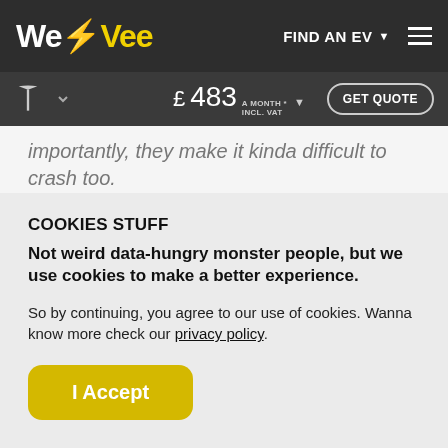WeVee — FIND AN EV navigation bar
importantly, they make it kinda difficult to crash too.
[Figure (photo): Partial view of a car image strip in blue-grey tones]
COOKIES STUFF
Not weird data-hungry monster people, but we use cookies to make a better experience.
So by continuing, you agree to our use of cookies. Wanna know more check our privacy policy.
I Accept